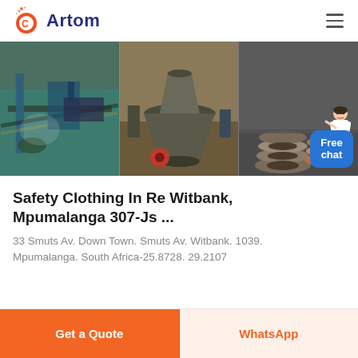Artom
[Figure (photo): Three-panel image strip showing industrial mining/crushing machinery: left panel shows conveyor belts and machinery with dust, center panel shows a large cone crusher in operation, right panel shows stacked metal rings/components in a warehouse setting. A customer service representative avatar appears on the right edge.]
Safety Clothing In Re Witbank, Mpumalanga 307-Js ...
33 Smuts Av. Down Town. Smuts Av. Witbank. 1039. Mpumalanga. South Africa-25.8728. 29.2107